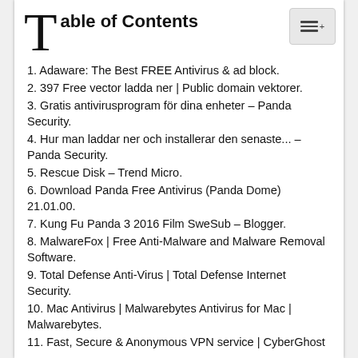Table of Contents
1. Adaware: The Best FREE Antivirus & ad block.
2. 397 Free vector ladda ner | Public domain vektorer.
3. Gratis antivirusprogram för dina enheter – Panda Security.
4. Hur man laddar ner och installerar den senaste... – Panda Security.
5. Rescue Disk – Trend Micro.
6. Download Panda Free Antivirus (Panda Dome) 21.01.00.
7. Kung Fu Panda 3 2016 Film SweSub – Blogger.
8. MalwareFox | Free Anti-Malware and Malware Removal Software.
9. Total Defense Anti-Virus | Total Defense Internet Security.
10. Mac Antivirus | Malwarebytes Antivirus for Mac | Malwarebytes.
11. Fast, Secure & Anonymous VPN service | CyberGhost